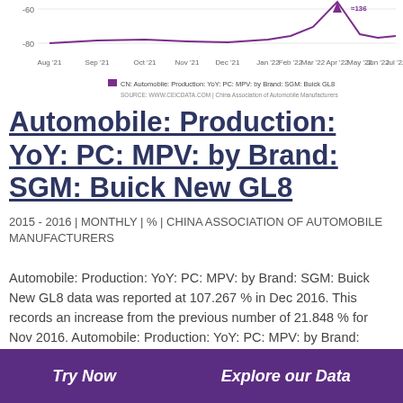[Figure (continuous-plot): Partial line chart showing CN: Automobile Production YoY PC MPV by Brand SGM Buick GL8, x-axis Aug'21 to Jul'22, y-axis from -80 to some positive value, with a purple upward spike around Apr'22]
CN: Automobile: Production YoY: PC: MPV: by Brand: SGM: Buick GL8
SOURCE: WWW.CEICDATA.COM | China Association of Automobile Manufacturers
Automobile: Production: YoY: PC: MPV: by Brand: SGM: Buick New GL8
2015 - 2016 | MONTHLY | % | CHINA ASSOCIATION OF AUTOMOBILE MANUFACTURERS
Automobile: Production: YoY: PC: MPV: by Brand: SGM: Buick New GL8 data was reported at 107.267 % in Dec 2016. This records an increase from the previous number of 21.848 % for Nov 2016. Automobile: Production: YoY: PC: MPV: by Brand: SGM: Buick New GL8 data is updated monthly, averaging 8.397 % from Jan 2015 to Dec 2016, with 24 observations. The data reached an all-time high of 136.140 % in Oct 2015 and a record
Try Now    Explore our Data